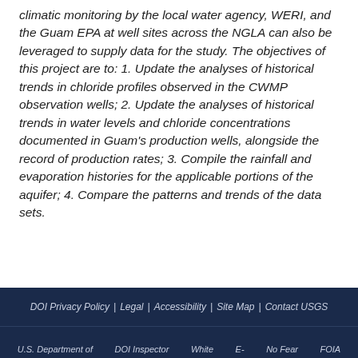climatic monitoring by the local water agency, WERI, and the Guam EPA at well sites across the NGLA can also be leveraged to supply data for the study. The objectives of this project are to: 1. Update the analyses of historical trends in chloride profiles observed in the CWMP observation wells; 2. Update the analyses of historical trends in water levels and chloride concentrations documented in Guam's production wells, alongside the record of production rates; 3. Compile the rainfall and evaporation histories for the applicable portions of the aquifer; 4. Compare the patterns and trends of the data sets.
DOI Privacy Policy | Legal | Accessibility | Site Map | Contact USGS
U.S. Department of ... DOI Inspector ... White ... E- ... No Fear ... FOIA